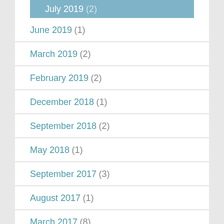July 2019 (2)
June 2019 (1)
March 2019 (2)
February 2019 (2)
December 2018 (1)
September 2018 (2)
May 2018 (1)
September 2017 (3)
August 2017 (1)
March 2017 (8)
February 2017 (4)